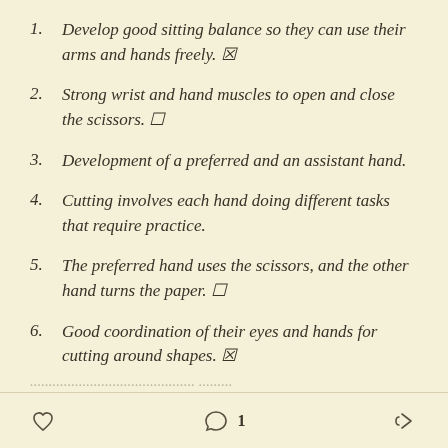1. Develop good sitting balance so they can use their arms and hands freely. 🔲
2. Strong wrist and hand muscles to open and close the scissors. 🔲
3. Development of a preferred and an assistant hand.
4. Cutting involves each hand doing different tasks that require practice.
5. The preferred hand uses the scissors, and the other hand turns the paper. 🔲
6. Good coordination of their eyes and hands for cutting around shapes. 🔲
❤ (like)   💬 1   ↪ (share)